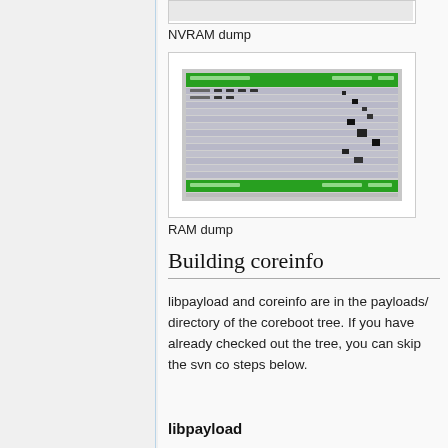[Figure (screenshot): Partial NVRAM dump screenshot (cut off at top)]
NVRAM dump
[Figure (screenshot): RAM dump terminal screenshot showing hex memory dump with green header bar]
RAM dump
Building coreinfo
libpayload and coreinfo are in the payloads/ directory of the coreboot tree. If you have already checked out the tree, you can skip the svn co steps below.
libpayload